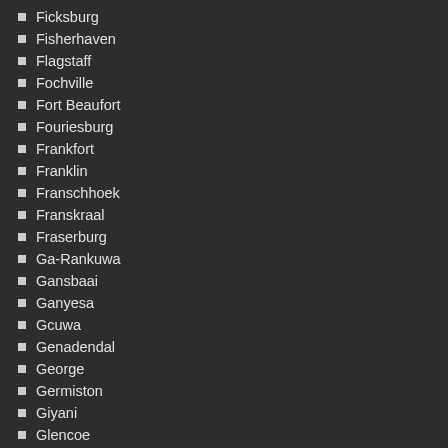Ficksburg
Fisherhaven
Flagstaff
Fochville
Fort Beaufort
Fouriesburg
Frankfort
Franklin
Franschhoek
Franskraal
Fraserburg
Ga-Rankuwa
Gansbaai
Ganyesa
Gcuwa
Genadendal
George
Germiston
Giyani
Glencoe
Gonubie
Gouda
Graaff-Reinet
Graafwater
Grabouw
Grahamstown
Graskop
Gravelotte
Greelington